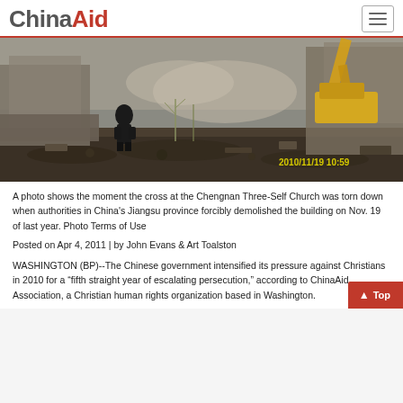ChinaAid
[Figure (photo): A demolition scene at the Chengnan Three-Self Church in Jiangsu province, China, with a person standing amid rubble and a bulldozer working in the background. Timestamp reads 2010/11/19 10:59.]
A photo shows the moment the cross at the Chengnan Three-Self Church was torn down when authorities in China's Jiangsu province forcibly demolished the building on Nov. 19 of last year. Photo Terms of Use
Posted on Apr 4, 2011 | by John Evans & Art Toalston
WASHINGTON (BP)--The Chinese government intensified its pressure against Christians in 2010 for a "fifth straight year of escalating persecution," according to ChinaAid Association, a Christian human rights organization based in Washington.